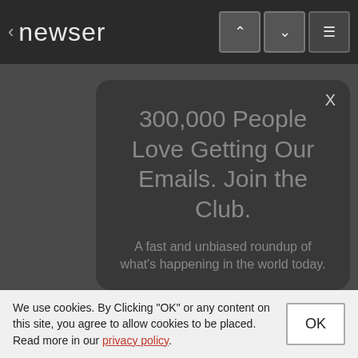newser
300,000 People Love Getting Our Emails. Join the Club.
A fast and unbiased roundup of what's happening in the world today.
your email address    SIGN UP
Popular on Newser
It's Not All Rainbows,
We use cookies. By Clicking "OK" or any content on this site, you agree to allow cookies to be placed. Read more in our privacy policy.